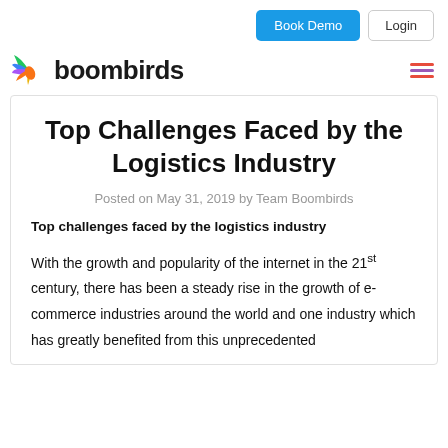Book Demo  Login
[Figure (logo): Boombirds logo with colorful wing icon and bold text 'boombirds']
Top Challenges Faced by the Logistics Industry
Posted on May 31, 2019 by Team Boombirds
Top challenges faced by the logistics industry
With the growth and popularity of the internet in the 21st century, there has been a steady rise in the growth of e-commerce industries around the world and one industry which has greatly benefited from this unprecedented